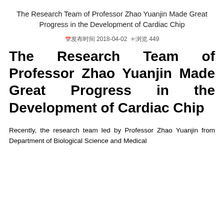The Research Team of Professor Zhao Yuanjin Made Great Progress in the Development of Cardiac Chip
发布时间 2018-04-02  浏览 449
The Research Team of Professor Zhao Yuanjin Made Great Progress in the Development of Cardiac Chip
Recently, the research team led by Professor Zhao Yuanjin from Department of Biological Science and Medical Engineering of Tsinghua University presented the world's first...